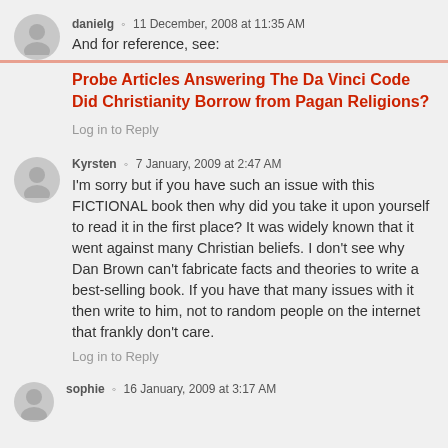danielg ◦ 11 December, 2008 at 11:35 AM
And for reference, see:
Probe Articles Answering The Da Vinci Code
Did Christianity Borrow from Pagan Religions?
Log in to Reply
Kyrsten ◦ 7 January, 2009 at 2:47 AM
I'm sorry but if you have such an issue with this FICTIONAL book then why did you take it upon yourself to read it in the first place? It was widely known that it went against many Christian beliefs. I don't see why Dan Brown can't fabricate facts and theories to write a best-selling book. If you have that many issues with it then write to him, not to random people on the internet that frankly don't care.
Log in to Reply
sophie ◦ 16 January, 2009 at 3:17 AM